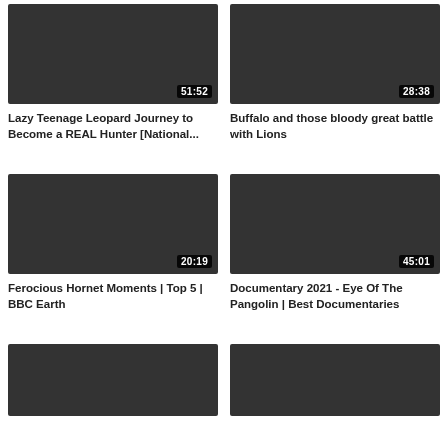[Figure (screenshot): Video thumbnail placeholder dark grey, duration 51:52]
Lazy Teenage Leopard Journey to Become a REAL Hunter [National...
[Figure (screenshot): Video thumbnail placeholder dark grey, duration 28:38]
Buffalo and those bloody great battle with Lions
[Figure (screenshot): Video thumbnail placeholder dark grey, duration 20:19]
Ferocious Hornet Moments | Top 5 | BBC Earth
[Figure (screenshot): Video thumbnail placeholder dark grey, duration 45:01]
Documentary 2021 - Eye Of The Pangolin | Best Documentaries
[Figure (screenshot): Video thumbnail placeholder dark grey, partially visible, no duration shown]
[Figure (screenshot): Video thumbnail placeholder dark grey, partially visible, no duration shown]